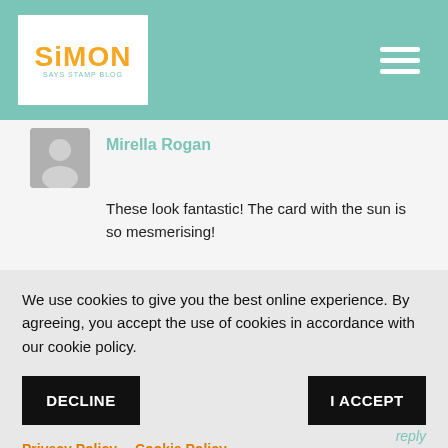Simon Says Stamp Blog — header with logo and hamburger menu
Mirella Rogan
These look fantastic! The card with the sun is so mesmerising!
We use cookies to give you the best online experience. By agreeing, you accept the use of cookies in accordance with our cookie policy.
DECLINE
I ACCEPT
Privacy Policy   Cookie Policy
reply